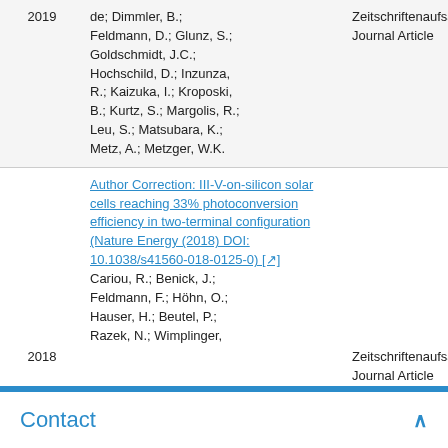| Year | Title / Authors | Type |
| --- | --- | --- |
| 2019 | de; Dimmler, B.; Feldmann, D.; Glunz, S.; Goldschmidt, J.C.; Hochschild, D.; Inzunza, R.; Kaizuka, I.; Kroposki, B.; Kurtz, S.; Margolis, R.; Leu, S.; Matsubara, K.; Metz, A.; Metzger, W.K. | Zeitschriftenaufsatz
Journal Article |
| 2018 | Author Correction: III-V-on-silicon solar cells reaching 33% photoconversion efficiency in two-terminal configuration (Nature Energy (2018) DOI: 10.1038/s41560-018-0125-0) [↗]
Cariou, R.; Benick, J.; Feldmann, F.; Höhn, O.; Hauser, H.; Beutel, P.; Razek, N.; Wimplinger, | Zeitschriftenaufsatz
Journal Article |
Contact